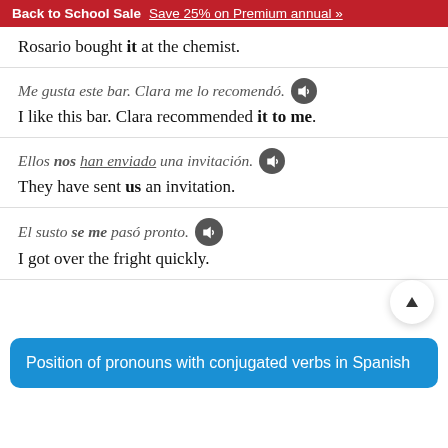Back to School Sale  Save 25% on Premium annual »
Rosario bought it at the chemist.
Me gusta este bar. Clara me lo recomendó.  [speaker icon]  I like this bar. Clara recommended it to me.
Ellos nos han enviado una invitación.  [speaker icon]  They have sent us an invitation.
El susto se me pasó pronto.  [speaker icon]  I got over the fright quickly.
Position of pronouns with conjugated verbs in Spanish